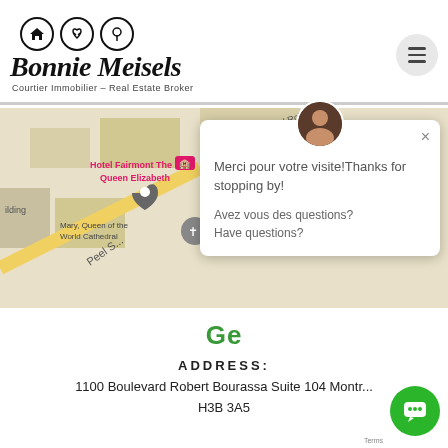[Figure (logo): Bonnie Meisels logo with three circular icons (house, handshake, leaf), cursive brand name, subtitle: Courtier Immobilier - Real Estate Broker]
[Figure (map): Google Maps showing Montreal area with Hotel Fairmont The Queen Elizabeth, Gare Centrale, Mary Queen of the World Cathedral, Peel Street]
[Figure (screenshot): Chat popup with avatar, close button, text: Merci pour votre visite!Thanks for stopping by! Avez vous des questions? Have questions?]
Ge
Address:
1100 Boulevard Robert Bourassa Suite 104 Montr... H3B 3A5